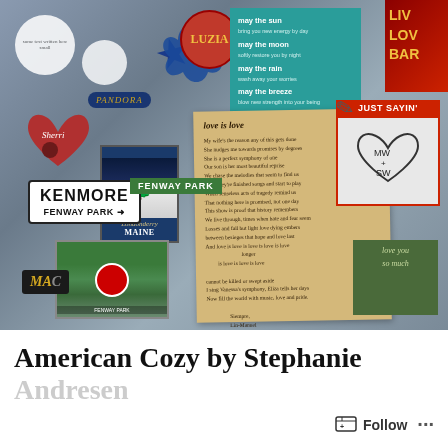[Figure (photo): A refrigerator covered with various magnets including a Kenmore/Fenway Park sign, Pandora magnet, Luzia circular magnet, a teal poem card with Irish blessing, a handwritten 'love is love' note on aged paper, a Maine winter scene magnet, a Just Sayin' whiteboard magnet with heart drawing, Boston Red Sox stadium photo magnet, green sticky note, blue starfish, butterfly magnet, circular white text magnets, and other decorative items.]
American Cozy by Stephanie
Andresen